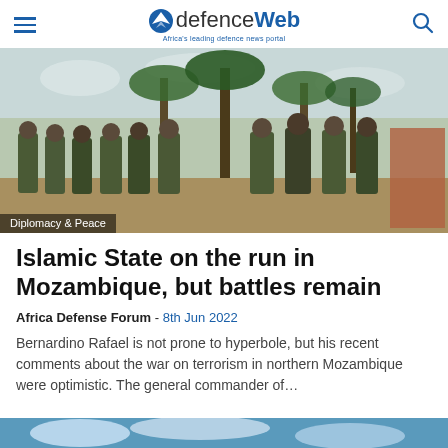defenceWeb — Africa's leading defence news portal
[Figure (photo): Group of soldiers in camouflage uniforms wearing face masks, standing outdoors with palm trees and buildings in background. Label overlay reads 'Diplomacy & Peace'.]
Islamic State on the run in Mozambique, but battles remain
Africa Defense Forum - 8th Jun 2022
Bernardino Rafael is not prone to hyperbole, but his recent comments about the war on terrorism in northern Mozambique were optimistic. The general commander of…
[Figure (photo): Bottom partial image showing blue sky with clouds — next article thumbnail.]